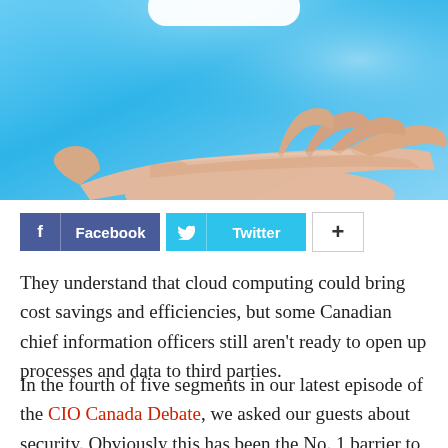[Figure (photo): A hand held out flat, palm up, against a bright blue background, appearing to hold or offer something (cloud computing concept image, partially cropped at top)]
[Figure (infographic): Social sharing buttons row: Facebook button (dark blue with f icon), Twitter button (cyan with bird icon), and a plus/more button (white with + symbol)]
They understand that cloud computing could bring cost savings and efficiencies, but some Canadian chief information officers still aren't ready to open up processes and data to third parties.
In the fourth of five segments in our latest episode of the CIO Canada Debate, we asked our guests about security. Obviously this has been the No. 1 barrier to